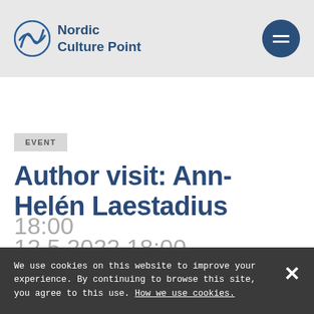Nordic Culture Point
EVENT
Author visit: Ann-Helén Laestadius
12.5.2022 18:00–
18:00
We use cookies on this website to improve your experience. By continuing to browse this site, you agree to this use. How we use cookies.